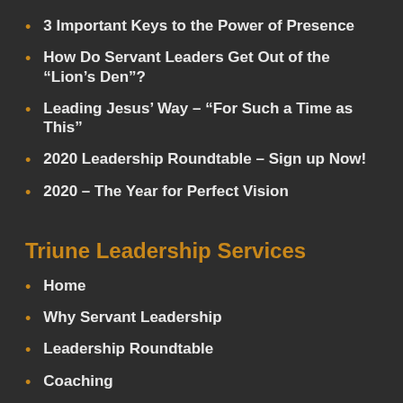3 Important Keys to the Power of Presence
How Do Servant Leaders Get Out of the “Lion’s Den”?
Leading Jesus’ Way – “For Such a Time as This”
2020 Leadership Roundtable – Sign up Now!
2020 – The Year for Perfect Vision
Triune Leadership Services
Home
Why Servant Leadership
Leadership Roundtable
Coaching
Training
Books
Leading Jesus’ Way
A Model of Servant Leadership